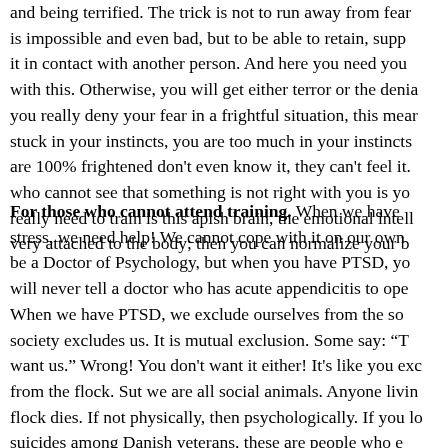and being terrified. The trick is not to run away from fear is impossible and even bad, but to be able to retain, supp it in contact with another person. And here you need you with this. Otherwise, you will get either terror or the denia you really deny your fear in a frightful situation, this mear stuck in your instincts, you are too much in your instincts are 100% frightened don't even know it, they can't feel it. who cannot see that something is not right with you is yo really need to train is this apish brain, the emotional intel very attached to the body; then you can normalize your b
For those who cannot attend training. When we have stress, we need help! We cannot cope with it on our own be a Doctor of Psychology, but when you have PTSD, yo will never tell a doctor who has acute appendicitis to ope When we have PTSD, we exclude ourselves from the so society excludes us. It is mutual exclusion. Some say: "T want us." Wrong! You don't want it either! It's like you exc from the flock. Sut we are all social animals. Anyone livin flock dies. If not physically, then psychologically. If you lo suicides among Danish veterans, these are people who e themselves from the flock: first, "I don't want to talk abou family pulls away from them, they don't want to be togeth in their mind, and ultimately kill themselves. Therefore, i